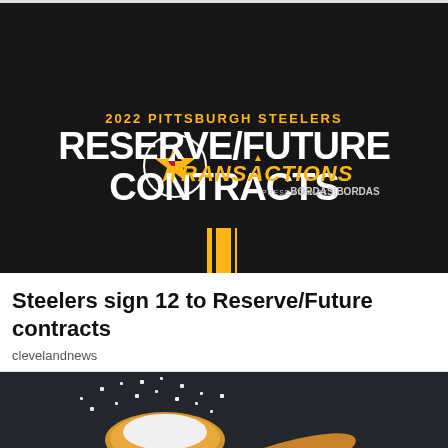[Figure (photo): Dark background image with Pittsburgh Steelers branding. Text reads '2022 PITTSBURGH STEELERS RESERVE/FUTURE CONTRACTS TRANSACTIONS PRESENTED BY BORDAS|BORDAS'. Features Steelers logo (helmet with black/gold/white stars) and gold/yellow vertical bar stripe at bottom.]
Steelers sign 12 to Reserve/Future contracts
clevelandnews
[Figure (photo): Close-up photo of a wooden spoon filled with white salt/sugar crystals on a dark slate background.]